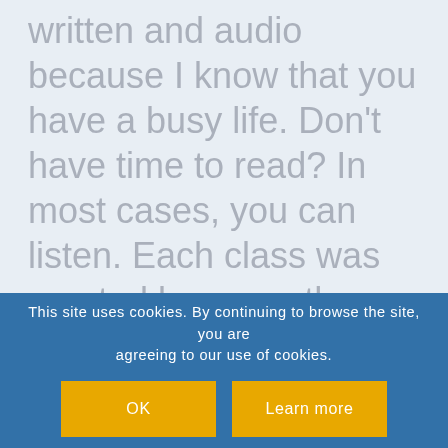the classes in many formats both written and audio because I know that you have a busy life. Don't have time to read? In most cases, you can listen. Each class was created because they are the answers to many of your burning questions. Enjoy!
This site uses cookies. By continuing to browse the site, you are agreeing to our use of cookies.